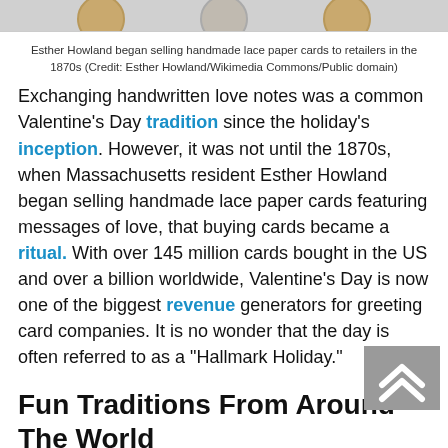[Figure (photo): Partial view of coins/medallions at top of page]
Esther Howland began selling handmade lace paper cards to retailers in the 1870s (Credit: Esther Howland/Wikimedia Commons/Public domain)
Exchanging handwritten love notes was a common Valentine's Day tradition since the holiday's inception. However, it was not until the 1870s, when Massachusetts resident Esther Howland began selling handmade lace paper cards featuring messages of love, that buying cards became a ritual. With over 145 million cards bought in the US and over a billion worldwide, Valentine's Day is now one of the biggest revenue generators for greeting card companies. It is no wonder that the day is often referred to as a “Hallmark Holiday.”
Fun Traditions From Around The World
In the Philippines, Valentine's Day is the year's most popular day to get married. Every year on February